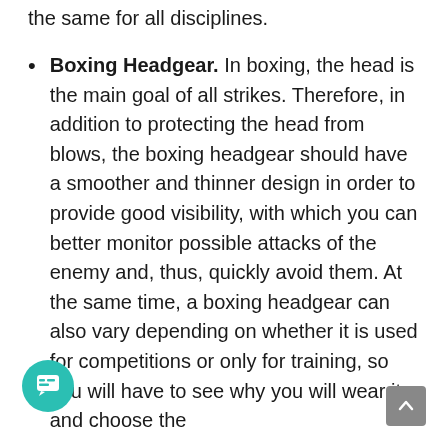the same for all disciplines.
Boxing Headgear. In boxing, the head is the main goal of all strikes. Therefore, in addition to protecting the head from blows, the boxing headgear should have a smoother and thinner design in order to provide good visibility, with which you can better monitor possible attacks of the enemy and, thus, quickly avoid them. At the same time, a boxing headgear can also vary depending on whether it is used for competitions or only for training, so you will have to see why you will wear it and choose the